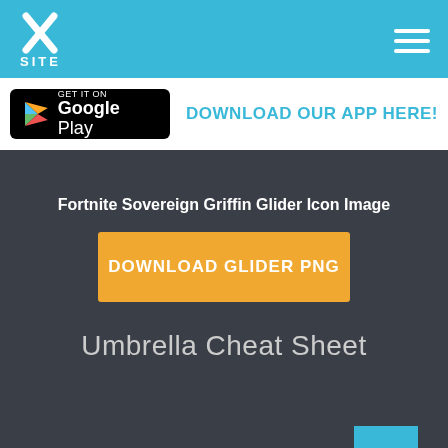[Figure (logo): XSITE logo in white on teal header background with hamburger menu icon]
[Figure (logo): Google Play badge - Get it on Google Play]
DOWNLOAD OUR APP HERE!
Fortnite Sovereign Griffin Glider Icon Image
DOWNLOAD GLIDER PNG
Umbrella Cheat Sheet
| ID |  |
| --- | --- |
| ID | Glider_ID_371_Lancelot |